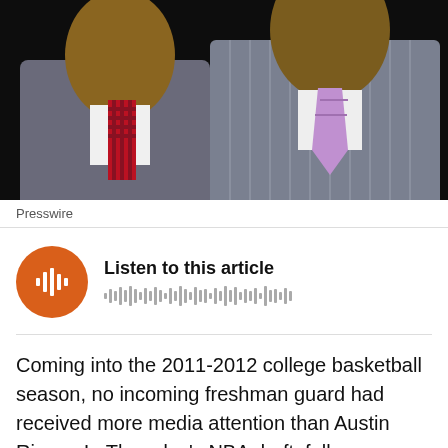[Figure (photo): Two men in suits, one wearing a red patterned tie and the other a purple/lavender tie, photographed from chest up against a dark background]
Presswire
[Figure (infographic): Audio player widget with orange circular play button showing sound bars icon, 'Listen to this article' text and waveform visualization]
Coming into the 2011-2012 college basketball season, no incoming freshman guard had received more media attention than Austin Rivers. In Thursday's NBA draft, fellow freshman guard Bradley Beal was drafted ahead of Rivers. Beal was also highly regarded coming out of high school, so it isn't particularly surprising that he